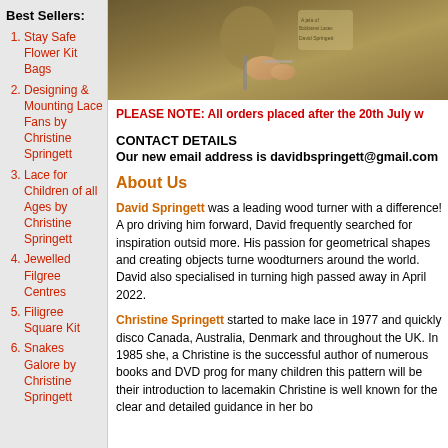[Figure (photo): Photo of David Springett wearing a khaki uniform/jacket with a badge, working with his hands on a woodturning project]
Best Sellers:
Stay Safe Flower Kit Bags
Designing & Mounting Lace Fans by Christine Springett
Lace for Children of all Ages by Christine Springett
Jewelled Filgree Centres
Filigree Square Kit
Snakes Galore by Christine Springett
PLEASE NOTE: All orders placed after the 20th July w
CONTACT DETAILS
Our new email address is davidbspringett@gmail.com
About Us
David Springett was a leading wood turner with a difference! A pro driving him forward, David frequently searched for inspiration outsid more. His passion for geometrical shapes and creating objects turne woodturners around the world. David also specialised in turning high passed away in April 2022.
Christine Springett started to make lace in 1977 and quickly disco Canada, Australia, Denmark and throughout the UK. In 1985 she, a Christine is the successful author of numerous books and DVD prog for many children this pattern will be their introduction to lacemakin Christine is well known for the clear and detailed guidance in her bo